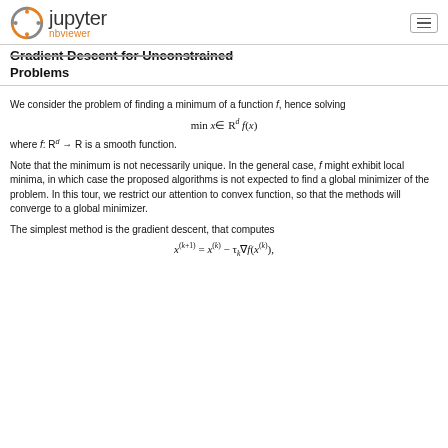Jupyter nbviewer
Gradient Descent for Unconstrained Problems
We consider the problem of finding a minimum of a function f, hence solving
where f: R^d → R is a smooth function.
Note that the minimum is not necessarily unique. In the general case, f might exhibit local minima, in which case the proposed algorithms is not expected to find a global minimizer of the problem. In this tour, we restrict our attention to convex function, so that the methods will converge to a global minimizer.
The simplest method is the gradient descent, that computes